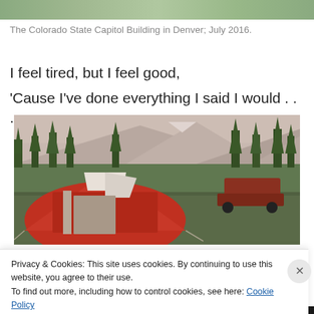[Figure (photo): Top portion of a photo showing green foliage/trees — partial view of Colorado State Capitol Building area]
The Colorado State Capitol Building in Denver; July 2016.
I feel tired, but I feel good,
'Cause I've done everything I said I would . . .
[Figure (photo): A red camping tent in a grassy meadow with pine trees and mountains in the background at dusk/sunrise. A red vehicle is parked in the background.]
Privacy & Cookies: This site uses cookies. By continuing to use this website, you agree to their use.
To find out more, including how to control cookies, see here: Cookie Policy
Close and accept